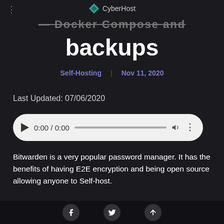CyberHost
Docker Compose and backups
Self-Hosting  Nov 11, 2020
Last Updated: 07/06/2020
[Figure (other): Audio player widget showing 0:00 / 0:00 with play button, progress bar, volume and more icons]
Bitwarden is a very popular password manager. It has the benefits of having E2E encryption and being open source allowing anyone to Self-host.
It's worth giving this one a think before getting
Facebook, Twitter, and share icons